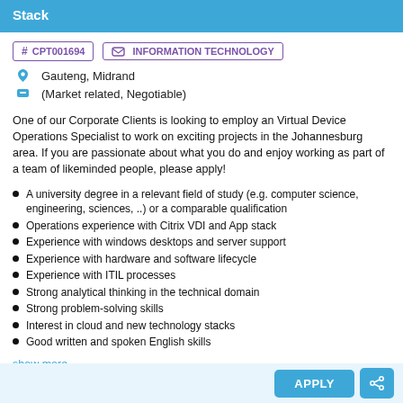Stack
# CPT001694   INFORMATION TECHNOLOGY
Gauteng, Midrand
(Market related, Negotiable)
One of our Corporate Clients is looking to employ an Virtual Device Operations Specialist to work on exciting projects in the Johannesburg area. If you are passionate about what you do and enjoy working as part of a team of likeminded people, please apply!
A university degree in a relevant field of study (e.g. computer science, engineering, sciences, ..) or a comparable qualification
Operations experience with Citrix VDI and App stack
Experience with windows desktops and server support
Experience with hardware and software lifecycle
Experience with ITIL processes
Strong analytical thinking in the technical domain
Strong problem-solving skills
Interest in cloud and new technology stacks
Good written and spoken English skills
show more...